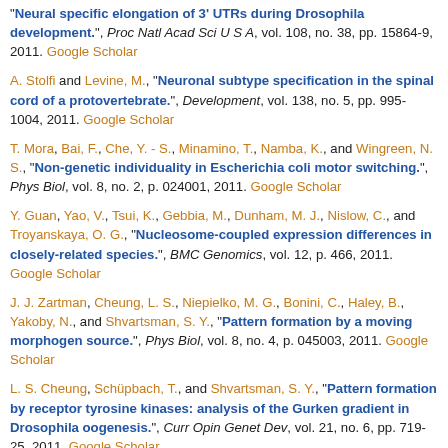"Neural specific elongation of 3' UTRs during Drosophila development.", Proc Natl Acad Sci U S A, vol. 108, no. 38, pp. 15864-9, 2011. Google Scholar
A. Stolfi and Levine, M., "Neuronal subtype specification in the spinal cord of a protovertebrate.", Development, vol. 138, no. 5, pp. 995-1004, 2011. Google Scholar
T. Mora, Bai, F., Che, Y. - S., Minamino, T., Namba, K., and Wingreen, N. S., "Non-genetic individuality in Escherichia coli motor switching.", Phys Biol, vol. 8, no. 2, p. 024001, 2011. Google Scholar
Y. Guan, Yao, V., Tsui, K., Gebbia, M., Dunham, M. J., Nislow, C., and Troyanskaya, O. G., "Nucleosome-coupled expression differences in closely-related species.", BMC Genomics, vol. 12, p. 466, 2011. Google Scholar
J. J. Zartman, Cheung, L. S., Niepielko, M. G., Bonini, C., Haley, B., Yakoby, N., and Shvartsman, S. Y., "Pattern formation by a moving morphogen source.", Phys Biol, vol. 8, no. 4, p. 045003, 2011. Google Scholar
L. S. Cheung, Schüpbach, T., and Shvartsman, S. Y., "Pattern formation by receptor tyrosine kinases: analysis of the Gurken gradient in Drosophila oogenesis.", Curr Opin Genet Dev, vol. 21, no. 6, pp. 719-25, 2011. Google Scholar
M. Levine, "Paused RNA polymerase II as a developmental checkpoint.", Cell, vol. 145, no. 4, pp. 502-11, 2011. Google Scholar